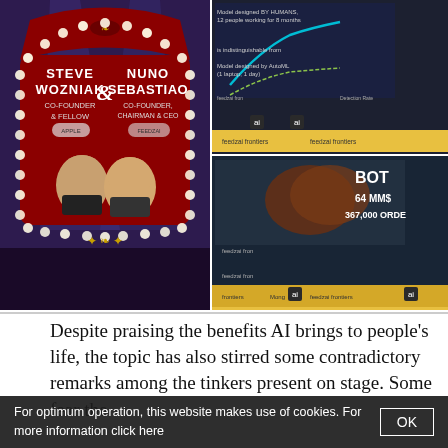[Figure (photo): Photo collage of three images: Left large image shows a stage display with headshots of Steve Wozniak (Co-Founder & Fellow) and Nuno Sebastiao (Co-Founder, Chairman & CEO) on a decorative red backdrop with lights. Top-right image shows a presenter on stage in front of a slide comparing AI models. Bottom-right image shows a presenter on stage in front of a slide with 'BOT 64 MM$ 367,000 ORDE' text visible.]
Despite praising the benefits AI brings to people's life, the topic has also stirred some contradictory remarks among the tinkers present on stage. Some fear the
For optimum operation, this website makes use of cookies. For more information click here